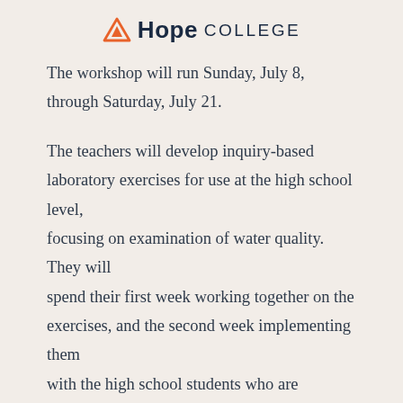Hope College
The workshop will run Sunday, July 8, through Saturday, July 21.
The teachers will develop inquiry-based laboratory exercises for use at the high school level, focusing on examination of water quality. They will spend their first week working together on the exercises, and the second week implementing them with the high school students who are attending classes through the college's Upward Bound program.
Following an opportunity to try the exercises at their schools as well during the coming academic